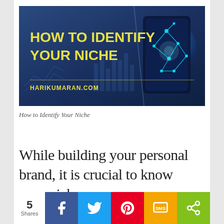[Figure (illustration): Banner image with dark blue background showing digital/technology theme with text 'HOW TO IDENTIFY YOUR NICHE' in bold yellow font and 'HARIKUMARAN.COM' at the bottom in yellow]
How to Identify Your Niche
While building your personal brand, it is crucial to know your niche.